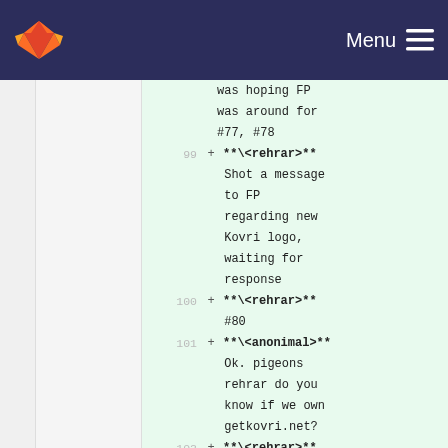GitLab — Menu
was hoping FP was around for #77, #78
99 + **\<rehrar>** Shot a message to FP regarding new Kovri logo, waiting for response
100 + **\<rehrar>** #80
101 + **\<anonimal>** Ok. pigeons rehrar do you know if we own getkovri.net?
102 + **\<rehrar>** I don't. Sec.
103 + **\<anonimal>**